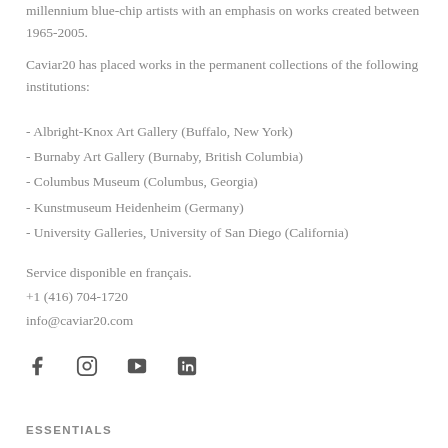millennium blue-chip artists with an emphasis on works created between 1965-2005.
Caviar20 has placed works in the permanent collections of the following institutions:
- Albright-Knox Art Gallery (Buffalo, New York)
- Burnaby Art Gallery (Burnaby, British Columbia)
- Columbus Museum (Columbus, Georgia)
- Kunstmuseum Heidenheim (Germany)
- University Galleries, University of San Diego (California)
Service disponible en français.
+1 (416) 704-1720
info@caviar20.com
[Figure (other): Social media icons: Facebook, Instagram, YouTube, LinkedIn]
ESSENTIALS